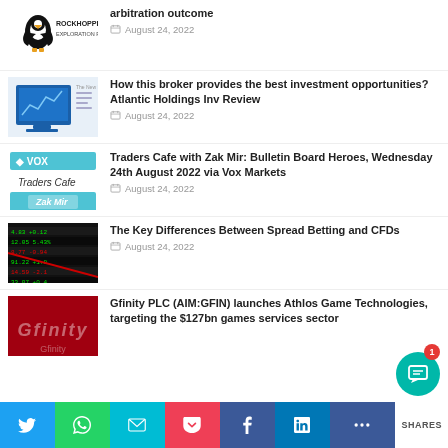[Figure (logo): Rockhopper Exploration PLC logo with penguin]
arbitration outcome
August 24, 2022
[Figure (screenshot): Blue financial chart/broker website screenshot]
How this broker provides the best investment opportunities? Atlantic Holdings Inv Review
August 24, 2022
[Figure (logo): VOX Traders Cafe with Zak Mir logo]
Traders Cafe with Zak Mir: Bulletin Board Heroes, Wednesday 24th August 2022 via Vox Markets
August 24, 2022
[Figure (photo): Stock market ticker board with red and green numbers]
The Key Differences Between Spread Betting and CFDs
August 24, 2022
[Figure (logo): Gfinity red logo]
Gfinity PLC (AIM:GFIN) launches Athlos Game Technologies, targeting the $127bn games services sector
SHARES